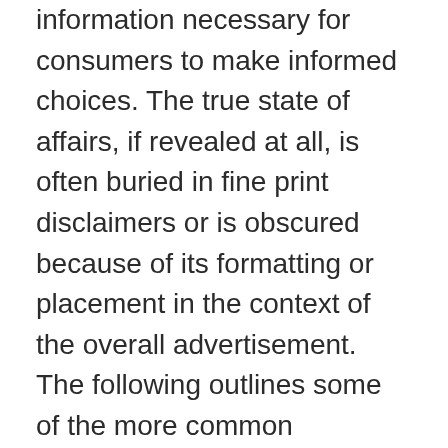information necessary for consumers to make informed choices. The true state of affairs, if revealed at all, is often buried in fine print disclaimers or is obscured because of its formatting or placement in the context of the overall advertisement. The following outlines some of the more common examples.
1.4.1 When information is actually advertising
One of the most powerful ways for consumers to protect themselves when shopping is to become informed. The online world has opened infinite gateways